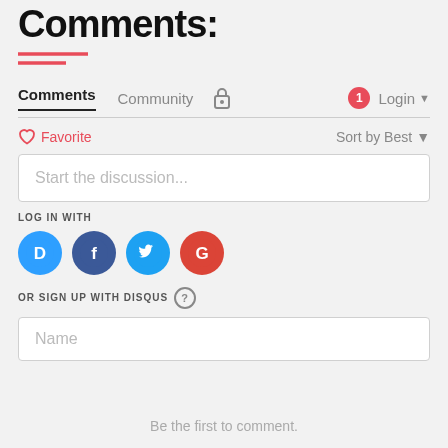Comments:
Comments  Community  🔒  1  Login
♡ Favorite  Sort by Best
Start the discussion...
LOG IN WITH
[Figure (logo): Four social login icons: Disqus (blue D), Facebook (dark blue F), Twitter (blue bird), Google (red G)]
OR SIGN UP WITH DISQUS ?
Name
Be the first to comment.